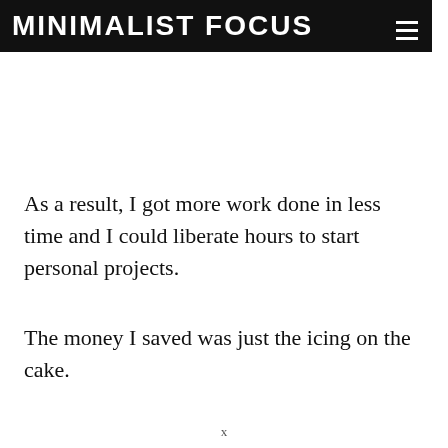MINIMALIST FOCUS
As a result, I got more work done in less time and I could liberate hours to start personal projects.
The money I saved was just the icing on the cake.